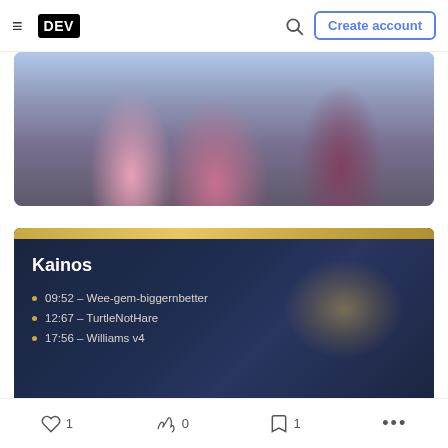DEV — Create account
[Figure (photo): Photo of people at an event, person in pink hoodie with arms crossed in center, person in dark maroon top on right]
[Figure (screenshot): Dark blue screen showing Kainos branding with gold top bar. Text: Kainos, bullet list: 09:52 – Wee-gem-biggernbetter, 12:67 – TurtleNotHare, 17:56 – Williams v4]
♡ 1   🔥 0   🔖 1   ...